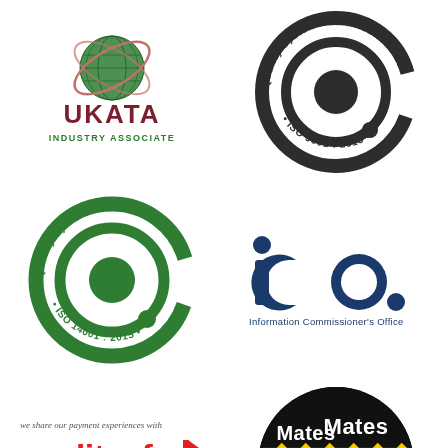[Figure (logo): UKATA Industry Associate logo with globe and orbital rings in green and dark red, text UKATA in dark red and INDUSTRY ASSOCIATE in green below]
[Figure (logo): Quality Systems Certifications Ltd ISO 9001:2015 circular badge in dark grey/black with Q target icon]
[Figure (logo): Quality Systems Certifications Ltd ISO 14001:2015 circular badge in green with Q target icon]
[Figure (logo): ICO Information Commissioner's Office logo in dark navy blue, lowercase ico. with subtitle]
[Figure (logo): Creditsafe logo in red with tagline 'we share our payment experiences with' and 'simply smarter' below]
[Figure (logo): Mates in Mind logo, circular black and yellow hazard stripe badge with white text Mates in Mind and hard hat icon]